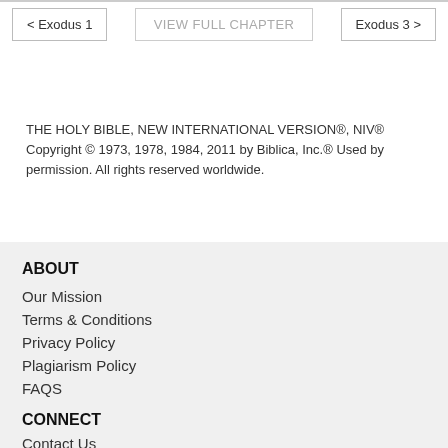< Exodus 1  |  VIEW FULL CHAPTER  |  Exodus 3 >
THE HOLY BIBLE, NEW INTERNATIONAL VERSION®, NIV® Copyright © 1973, 1978, 1984, 2011 by Biblica, Inc.® Used by permission. All rights reserved worldwide.
ABOUT
Our Mission
Terms & Conditions
Privacy Policy
Plagiarism Policy
FAQS
CONNECT
Contact Us